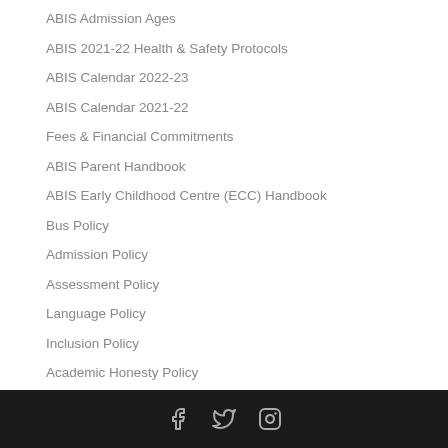ABIS Admission Ages
ABIS 2021-22 Health & Safety Protocols
ABIS Calendar 2022-23
ABIS Calendar 2021-22
Fees & Financial Commitments
ABIS Parent Handbook
ABIS Early Childhood Centre (ECC) Handbook
Bus Policy
Admission Policy
Assessment Policy
Language Policy
Inclusion Policy
Academic Honesty Policy
ABIS Organisational Chart
Social media links: Facebook, Twitter, Instagram